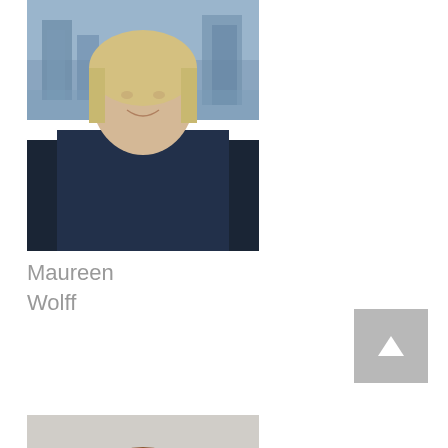[Figure (photo): Professional headshot of Maureen Wolff, a woman with blonde hair wearing a dark jacket, photographed outdoors with a city/waterfront background]
Maureen Wolff
[Figure (photo): Professional headshot of Sharon Merrill, a woman with brown hair wearing a dark outfit with a necklace, photographed against a neutral background]
Sharon Merrill
[Figure (photo): Professional headshot of a man in a dark suit and tie, photographed outdoors with a city skyline background, partially visible at bottom of page]